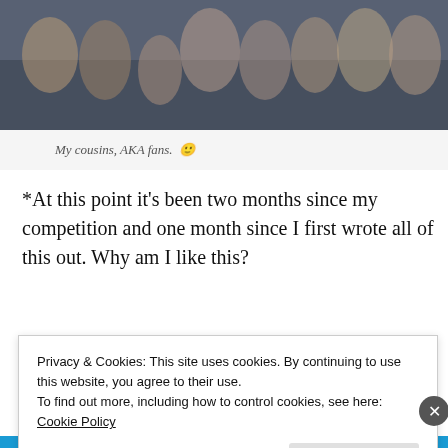[Figure (photo): Group photo of people, likely cousins/family, standing together indoors in front of bleachers or gym seating area.]
My cousins, AKA fans. 🙂
*At this point it's been two months since my competition and one month since I first wrote all of this out. Why am I like this?
Privacy & Cookies: This site uses cookies. By continuing to use this website, you agree to their use.
To find out more, including how to control cookies, see here: Cookie Policy
Close and accept